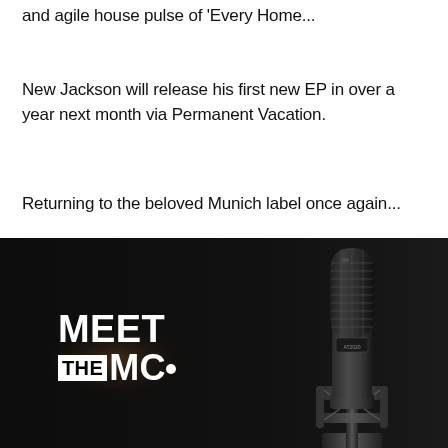and agile house pulse of 'Every Home...
New Jackson will release his first new EP in over a year next month via Permanent Vacation.
Returning to the beloved Munich label once again...
[Figure (photo): Dark promotional image with white bold text reading 'MEET THE MC' on the left, and a large studio condenser microphone on the right, against a black background with a subtle smoke/light effect behind the text.]